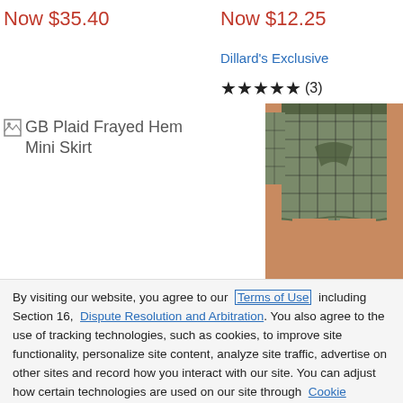Now $35.40
Now $12.25
Dillard's Exclusive
★★★★★ (3)
[Figure (photo): GB Plaid Frayed Hem Mini Skirt product image placeholder with broken image icon]
[Figure (photo): Model wearing a plaid frayed hem mini skirt in green/black plaid pattern with a tie waist]
By visiting our website, you agree to our Terms of Use including Section 16, Dispute Resolution and Arbitration. You also agree to the use of tracking technologies, such as cookies, to improve site functionality, personalize site content, analyze site traffic, advertise on other sites and record how you interact with our site. You can adjust how certain technologies are used on our site through Cookie Settings.